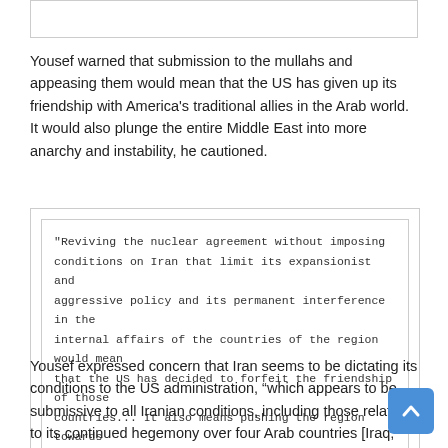[Figure (other): Top partial box/border element at top of page, content cropped]
Yousef warned that submission to the mullahs and appeasing them would mean that the US has given up its friendship with America's traditional allies in the Arab world. It would also plunge the entire Middle East into more anarchy and instability, he cautioned.
"Reviving the nuclear agreement without imposing conditions on Iran that limit its expansionist and aggressive policy and its permanent interference in the internal affairs of the countries of the region would mean that the US has decided to forfeit the friendship of those countries... It also means pushing the region towards chaos."
Yousef expressed concern that Iran seems to be dictating its conditions to the US administration, “which appears to be submissive to all Iranian conditions, including those related to its continued hegemony over four Arab countries [Iraq, Syria, Lebanon and Yemen] and its interference in the affairs of other Arab